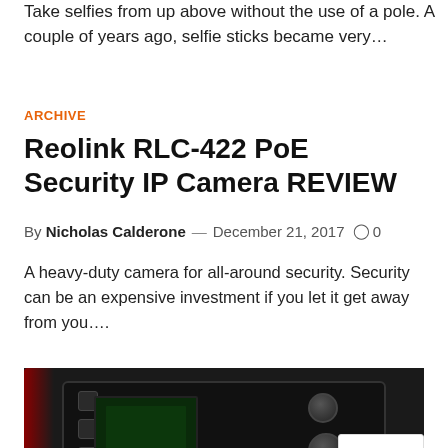Take selfies from up above without the use of a pole. A couple of years ago, selfie sticks became very…
ARCHIVE
Reolink RLC-422 PoE Security IP Camera REVIEW
By Nicholas Calderone — December 21, 2017  ○ 0
A heavy-duty camera for all-around security. Security can be an expensive investment if you let it get away from you….
[Figure (photo): Close-up photo of a Canon DSLR camera rear view showing screen, dials and buttons, with a reCAPTCHA badge overlay in the bottom right corner]